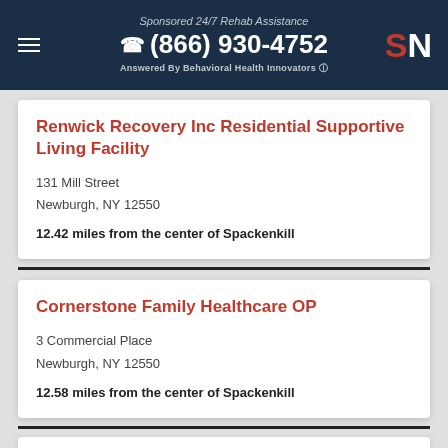Sponsored 24/7 Rehab Assistance (866) 930-4752 Answered By Behavioral Health Innovators
Renwick Recovery Inc Residential Supportive Living Facility
131 Mill Street
Newburgh, NY 12550
12.42 miles from the center of Spackenkill
Cornerstone Family Healthcare OP
3 Commercial Place
Newburgh, NY 12550
12.58 miles from the center of Spackenkill
Cornerstone Family Healthcare OPP